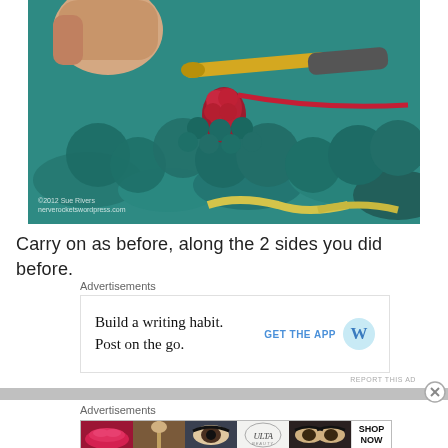[Figure (photo): Close-up photo of hands crocheting with teal/turquoise yarn and a gold crochet hook, with red yarn being worked in. Yellow yarn visible at bottom. Watermark reads '©2012 Sue Rivers' and 'nerverocketswordpress.com']
Carry on as before, along the 2 sides you did before.
Advertisements
Build a writing habit.
Post on the go.
GET THE APP [WordPress icon]
REPORT THIS AD
Advertisements
[Figure (screenshot): ULTA beauty advertisement banner with makeup photos (lips, brush, eyes) and 'SHOP NOW' button]